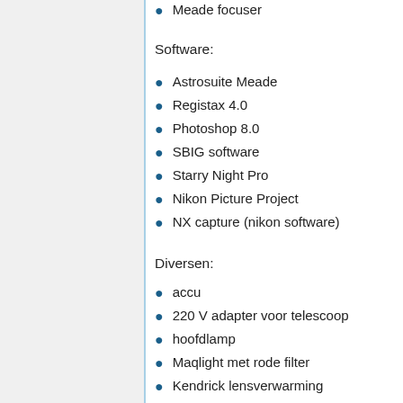Meade focuser
Software:
Astrosuite Meade
Registax 4.0
Photoshop 8.0
SBIG software
Starry Night Pro
Nikon Picture Project
NX capture (nikon software)
Diversen:
accu
220 V adapter voor telescoop
hoofdlamp
Maqlight met rode filter
Kendrick lensverwarming